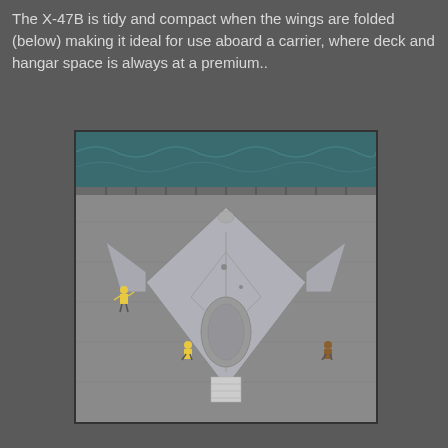The X-47B is tidy and compact when the wings are folded (below) making it ideal for use aboard a carrier, where deck and hangar space is always at a premium..
[Figure (photo): Aerial view of the X-47B UCAS drone aircraft with wings folded on the deck of an aircraft carrier. The aircraft is seen from above showing its diamond/kite shape with folded wings. Several crew members in yellow and other colored vests are visible on the grey carrier deck. Ocean water is visible at the top of the image.]